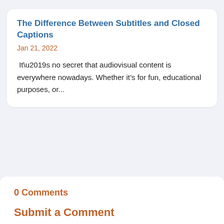The Difference Between Subtitles and Closed Captions
Jan 21, 2022
It’s no secret that audiovisual content is everywhere nowadays. Whether it’s for fun, educational purposes, or...
0 Comments
Submit a Comment